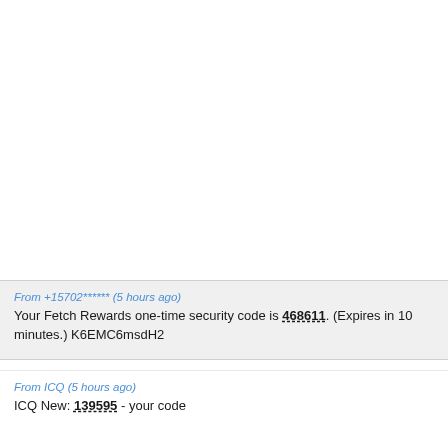From +15702****** (5 hours ago)
Your Fetch Rewards one-time security code is 468611. (Expires in 10 minutes.) K6EMC6msdH2
From ICQ (5 hours ago)
ICQ New: 139595 - your code